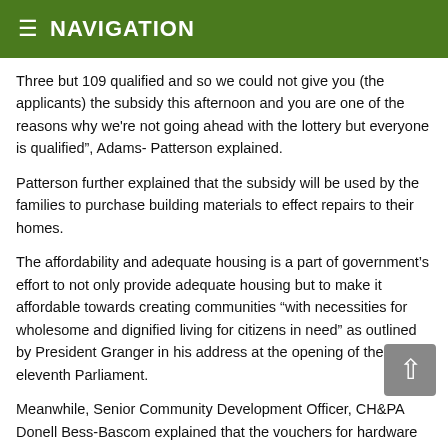NAVIGATION
Three but 109 qualified and so we could not give you (the applicants) the subsidy this afternoon and you are one of the reasons why we're not going ahead with the lottery but everyone is qualified", Adams- Patterson explained.
Patterson further explained that the subsidy will be used by the families to purchase building materials to effect repairs to their homes.
The affordability and adequate housing is a part of government's effort to not only provide adequate housing but to make it affordable towards creating communities “with necessities for wholesome and dignified living for citizens in need” as outlined by President Granger in his address at the opening of the eleventh Parliament.
Meanwhile, Senior Community Development Officer, CH&PA Donell Bess-Bascom explained that the vouchers for hardware supplies to effect repairs to their homes will be redeemable at pre-approved suppliers from December 1to January 31, 2017.